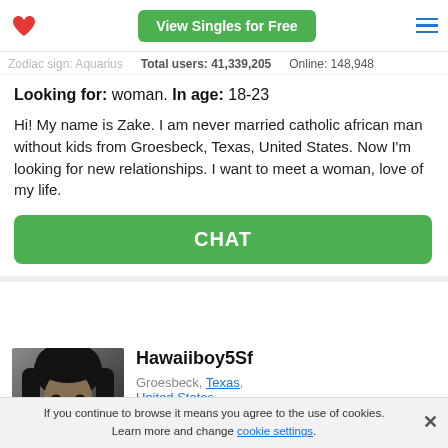View Singles for Free
Zodiac sign: Aquarius   Total users: 41,339,205   Online: 148,948
Looking for: woman. In age: 18-23
Hi! My name is Zake. I am never married catholic african man without kids from Groesbeck, Texas, United States. Now I'm looking for new relationships. I want to meet a woman, love of my life.
CHAT
[Figure (photo): Black and white profile photo of a person with long dark hair]
Hawaiiboy5Sf
Groesbeck, Texas, United States
Online
If you continue to browse it means you agree to the use of cookies. Learn more and change cookie settings.